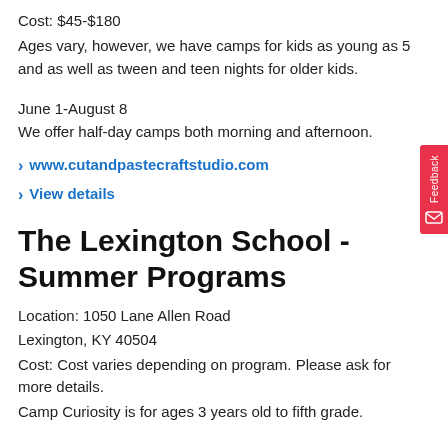Cost: $45-$180
Ages vary, however, we have camps for kids as young as 5 and as well as tween and teen nights for older kids.
June 1-August 8
We offer half-day camps both morning and afternoon.
> www.cutandpastecraftstudio.com
> View details
The Lexington School - Summer Programs
Location: 1050 Lane Allen Road
Lexington, KY 40504
Cost: Cost varies depending on program. Please ask for more details.
Camp Curiosity is for ages 3 years old to fifth grade.